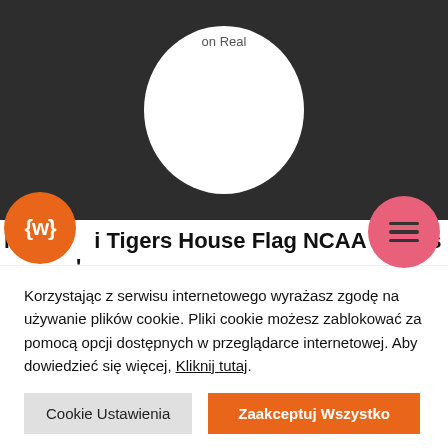[Figure (illustration): Dark background section with white circle containing text 'on Real']
[Figure (logo): Orange circular logo with MLW or similar text in white]
[Figure (illustration): Pink/red circular menu button with three horizontal lines (hamburger icon)]
Missouri Tigers House Flag NCAA Licensed 28" x 40" Briarwood Lane
Missouri Tigers House Flag NCAA Licensed 28" x 40" Briarwood Lane Flags Garden & Patio, Size 28" x 40" Our original artwork printed on polyester material designed for outdoor display provides unique designs that are as durable as they are beautiful Free shipping service Enjoy
Korzystając z serwisu internetowego wyrażasz zgodę na używanie plików cookie. Pliki cookie możesz zablokować za pomocą opcji dostępnych w przeglądarce internetowej. Aby dowiedzieć się więcej, Kliknij tutaj.
Cookie Ustawienia
Zaakceptuj Wszystko